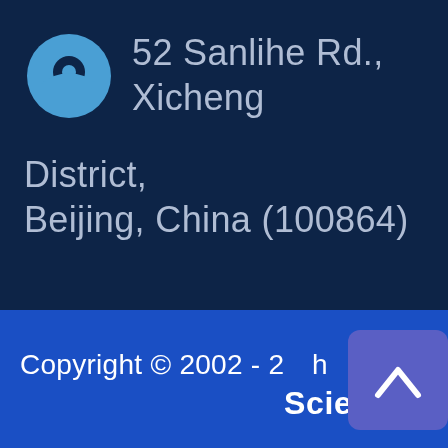52 Sanlihe Rd., Xicheng District, Beijing, China (100864)
Copyright © 2002 - 2... Sciences